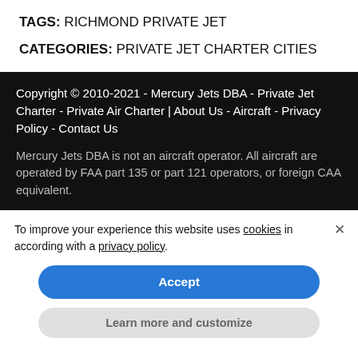TAGS: RICHMOND PRIVATE JET
CATEGORIES: PRIVATE JET CHARTER CITIES
Copyright © 2010-2021 - Mercury Jets DBA - Private Jet Charter - Private Air Charter | About Us - Aircraft - Privacy Policy - Contact Us

Mercury Jets DBA is not an aircraft operator. All aircraft are operated by FAA part 135 or part 121 operators, or foreign CAA equivalent.
To improve your experience this website uses cookies in according with a privacy policy.
Accept
Learn more and customize